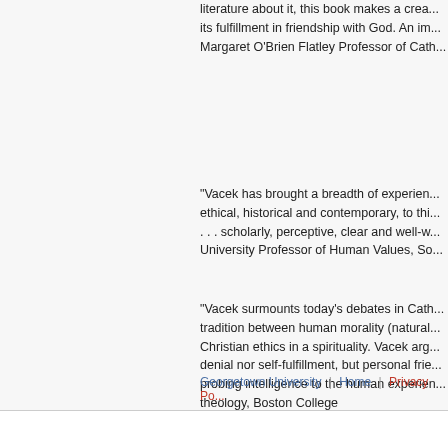literature about it, this book makes a crea... its fulfillment in friendship with God. An im... Margaret O'Brien Flatley Professor of Cath...
"Vacek has brought a breadth of experien... ethical, historical and contemporary, to thi... . . . scholarly, perceptive, clear and well-w... University Professor of Human Values, So...
"Vacek surmounts today's debates in Cath... tradition between human morality (natural... Christian ethics in a spirituality. Vacek arg... denial nor self-fulfillment, but personal frie... probing intelligence to the human experien... theology, Boston College
Georgetown University | Home | Privacy Po...
Copyright ©